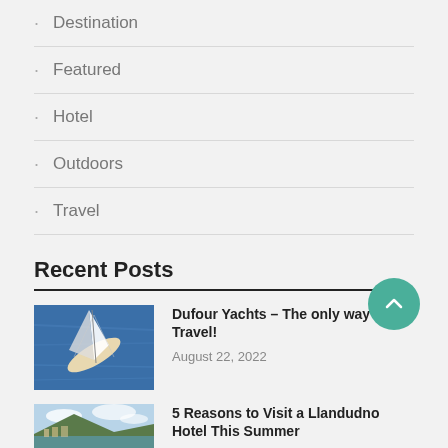Destination
Featured
Hotel
Outdoors
Travel
Recent Posts
[Figure (photo): Aerial view of a sailing yacht on blue water]
Dufour Yachts – The only way to Travel!
August 22, 2022
[Figure (photo): Coastal town panorama with hills and sea]
5 Reasons to Visit a Llandudno Hotel This Summer